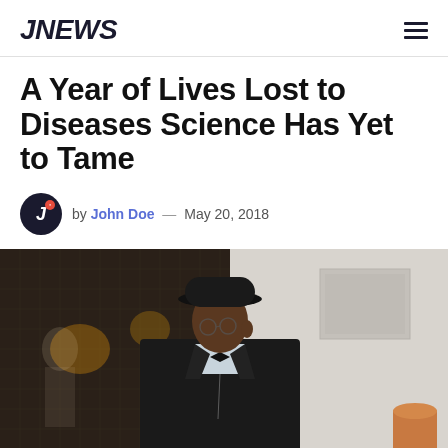JNEWS
A Year of Lives Lost to Diseases Science Has Yet to Tame
by John Doe — May 20, 2018
[Figure (photo): A man wearing a black bowler hat, glasses, and a black jacket with a bow tie, standing and looking to the side in front of a window with a gridded pattern and a light gray wall.]